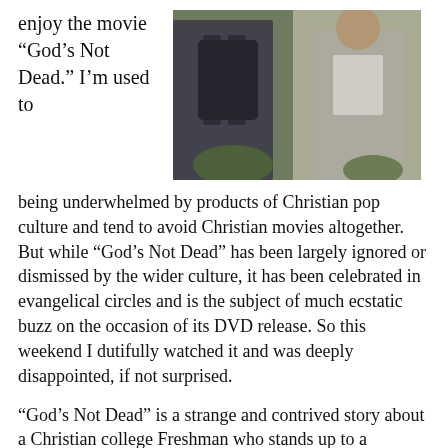enjoy the movie “God’s Not Dead.” I’m used to
[Figure (photo): Two men talking outdoors, one with a backpack visible from behind, the other facing forward in a light jacket, near a building with greenery.]
being underwhelmed by products of Christian pop culture and tend to avoid Christian movies altogether. But while “God’s Not Dead” has been largely ignored or dismissed by the wider culture, it has been celebrated in evangelical circles and is the subject of much ecstatic buzz on the occasion of its DVD release. So this weekend I dutifully watched it and was deeply disappointed, if not surprised.
“God’s Not Dead” is a strange and contrived story about a Christian college Freshman who stands up to a bullying atheist Philosophy professor. A series of clumsily related storylines converge, and this young man’s crusade to prove the existence of God brings several lost characters together at a climactic Newsboys concert (yes). Much has been said